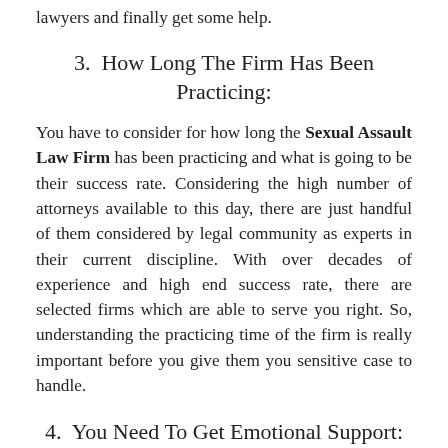lawyers and finally get some help.
3.  How Long The Firm Has Been Practicing:
You have to consider for how long the Sexual Assault Law Firm has been practicing and what is going to be their success rate. Considering the high number of attorneys available to this day, there are just handful of them considered by legal community as experts in their current discipline. With over decades of experience and high end success rate, there are selected firms which are able to serve you right. So, understanding the practicing time of the firm is really important before you give them you sensitive case to handle.
4.  You Need To Get Emotional Support:
Always remember that you are dealing with something as critical and sensitive as sexual assault. Therefore, it is really important that you get hands on the best legal worker, able to provide the victim with full emotional support the person